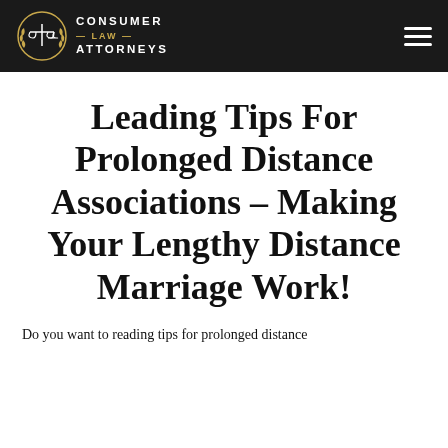CONSUMER LAW ATTORNEYS
Leading Tips For Prolonged Distance Associations – Making Your Lengthy Distance Marriage Work!
Do you want to reading tips for prolonged distance